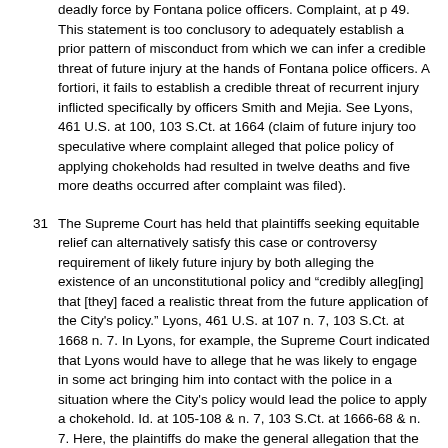deadly force by Fontana police officers. Complaint, at p 49. This statement is too conclusory to adequately establish a prior pattern of misconduct from which we can infer a credible threat of future injury at the hands of Fontana police officers. A fortiori, it fails to establish a credible threat of recurrent injury inflicted specifically by officers Smith and Mejia. See Lyons, 461 U.S. at 100, 103 S.Ct. at 1664 (claim of future injury too speculative where complaint alleged that police policy of applying chokeholds had resulted in twelve deaths and five more deaths occurred after complaint was filed).
31  The Supreme Court has held that plaintiffs seeking equitable relief can alternatively satisfy this case or controversy requirement of likely future injury by both alleging the existence of an unconstitutional policy and "credibly alleg[ing] that [they] faced a realistic threat from the future application of the City's policy." Lyons, 461 U.S. at 107 n. 7, 103 S.Ct. at 1668 n. 7. In Lyons, for example, the Supreme Court indicated that Lyons would have to allege that he was likely to engage in some act bringing him into contact with the police in a situation where the City's policy would lead the police to apply a chokehold. Id. at 105-108 & n. 7, 103 S.Ct. at 1666-68 & n. 7. Here, the plaintiffs do make the general allegation that the City's unconstitutional policies authorize and encourage all police officers to use excessive force, especially against black persons. They